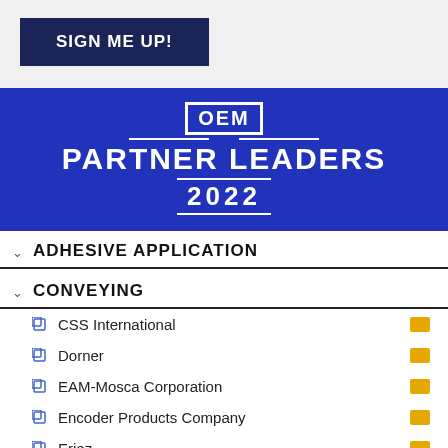SIGN ME UP!
[Figure (logo): OEM Partner Leaders 2022 logo — blue background with white text. 'OEM' in a boxed rectangle, 'PARTNER LEADERS' in large bold white letters, '2022' in bordered text below.]
ADHESIVE APPLICATION
CONVEYING
CSS International
Dorner
EAM-Mosca Corporation
Encoder Products Company
Eriez